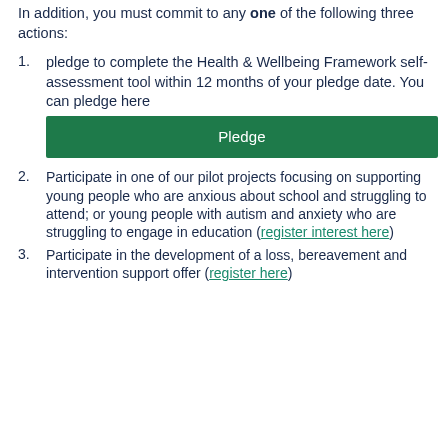In addition, you must commit to any one of the following three actions:
pledge to complete the Health & Wellbeing Framework self-assessment tool within 12 months of your pledge date. You can pledge here [Pledge button]
Participate in one of our pilot projects focusing on supporting young people who are anxious about school and struggling to attend; or young people with autism and anxiety who are struggling to engage in education (register interest here)
Participate in the development of a loss, bereavement and intervention support offer (register here)